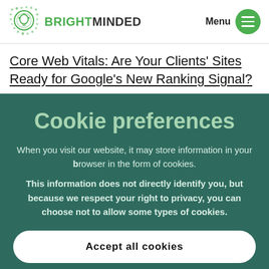BRIGHTMINDED | Menu
Core Web Vitals: Are Your Clients' Sites Ready for Google's New Ranking Signal?
Cookie preferences
When you visit our website, it may store information in your browser in the form of cookies.
This information does not directly identify you, but because we respect your right to privacy, you can choose not to allow some types of cookies.
Accept all cookies